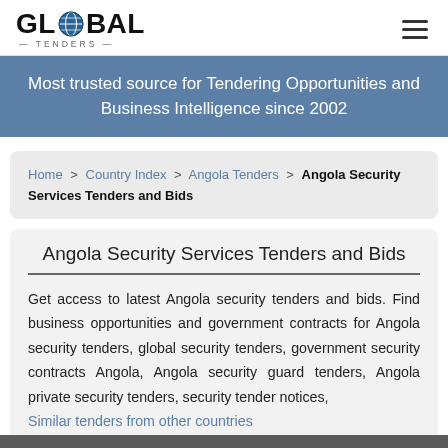GLOBAL TENDERS — Most trusted source for Tendering Opportunities and Business Intelligence since 2002
Home > Country Index > Angola Tenders > Angola Security Services Tenders and Bids
Angola Security Services Tenders and Bids
Get access to latest Angola security tenders and bids. Find business opportunities and government contracts for Angola security tenders, global security tenders, government security contracts Angola, Angola security guard tenders, Angola private security tenders, security tender notices, Similar tenders from other countries